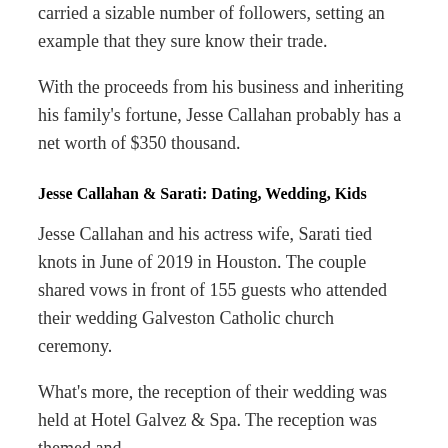carried a sizable number of followers, setting an example that they sure know their trade.
With the proceeds from his business and inheriting his family's fortune, Jesse Callahan probably has a net worth of $350 thousand.
Jesse Callahan & Sarati: Dating, Wedding, Kids
Jesse Callahan and his actress wife, Sarati tied knots in June of 2019 in Houston. The couple shared vows in front of 155 guests who attended their wedding Galveston Catholic church ceremony.
What's more, the reception of their wedding was held at Hotel Galvez & Spa. The reception was themed and